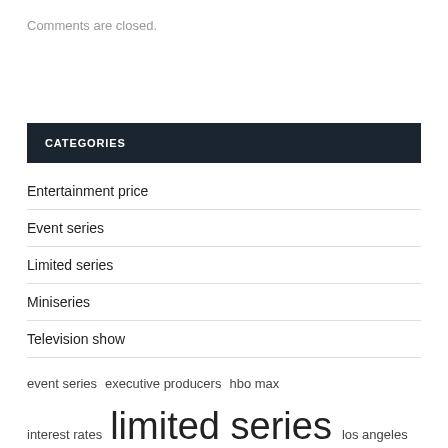Comments are closed.
CATEGORIES
Entertainment price
Event series
Limited series
Miniseries
Television show
event series  executive producers  hbo max  interest rates  limited series  los angeles